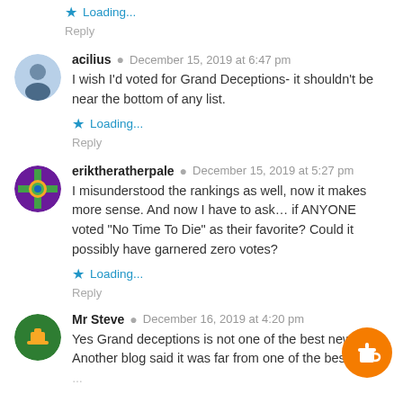★ Loading...
Reply
acilius · December 15, 2019 at 6:47 pm
I wish I'd voted for Grand Deceptions- it shouldn't be near the bottom of any list.
★ Loading...
Reply
eriktheratherpale · December 15, 2019 at 5:27 pm
I misunderstood the rankings as well, now it makes more sense. And now I have to ask… if ANYONE voted "No Time To Die" as their favorite? Could it possibly have garnered zero votes?
★ Loading...
Reply
Mr Steve · December 16, 2019 at 4:20 pm
Yes Grand deceptions is not one of the best new. Another blog said it was far from one of the best new...